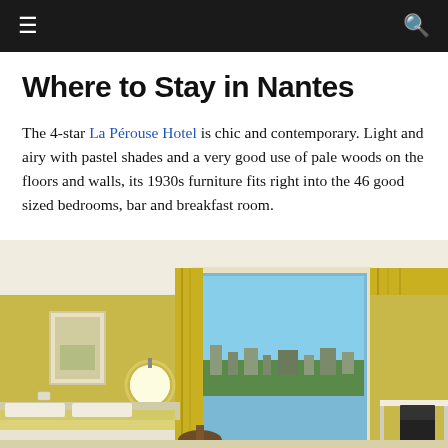☰  🔍
Where to Stay in Nantes
The 4-star La Pérouse Hotel is chic and contemporary. Light and airy with pastel shades and a very good use of pale woods on the floors and walls, its 1930s furniture fits right into the 46 good sized bedrooms, bar and breakfast room.
[Figure (photo): Interior photo of a hotel room with yellow/mustard walls, white ceiling, pale yellow curtains by a window, globe wall lamp, framed artwork, bed with patterned bedding, small round table, white desk and black chair. City view visible through the window.]